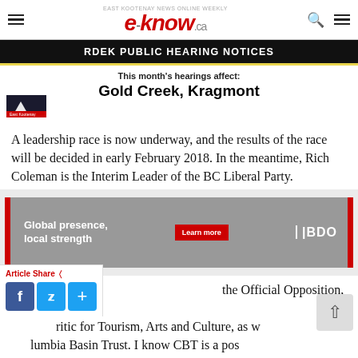e-know.ca
[Figure (infographic): RDEK PUBLIC HEARING NOTICES banner. This month's hearings affect: Gold Creek, Kragmont]
A leadership race is now underway, and the results of the race will be decided in early February 2018. In the meantime, Rich Coleman is the Interim Leader of the BC Liberal Party.
[Figure (infographic): BDO advertisement: Global presence, local strength. Learn more button. BDO logo.]
the Official Opposition, I have been ritic for Tourism, Arts and Culture, as w... lumbia Basin Trust. I know CBT is a pos... force in this region and my primary concern will always be